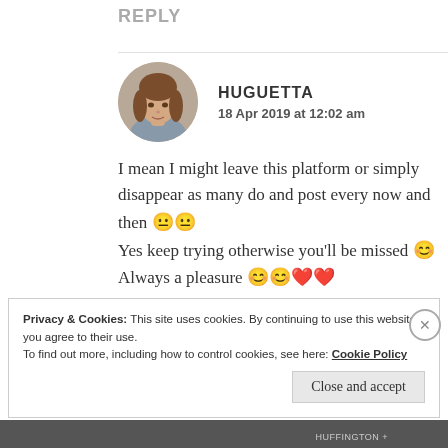REPLY
[Figure (photo): Circular avatar photo of a woman with shoulder-length brown hair]
HUGUETTA
18 Apr 2019 at 12:02 am
I mean I might leave this platform or simply disappear as many do and post every now and then 😐😐
Yes keep trying otherwise you'll be missed 😊
Always a pleasure 😊😊❤❤
Privacy & Cookies: This site uses cookies. By continuing to use this website, you agree to their use.
To find out more, including how to control cookies, see here: Cookie Policy
Close and accept